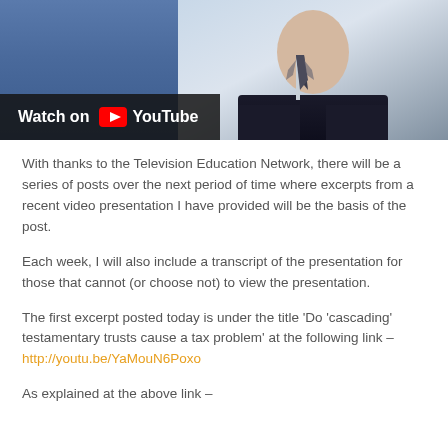[Figure (screenshot): YouTube video thumbnail showing a man in a dark suit and striped tie, with a 'Watch on YouTube' overlay bar at the bottom left]
With thanks to the Television Education Network, there will be a series of posts over the next period of time where excerpts from a recent video presentation I have provided will be the basis of the post.
Each week, I will also include a transcript of the presentation for those that cannot (or choose not) to view the presentation.
The first excerpt posted today is under the title 'Do 'cascading' testamentary trusts cause a tax problem' at the following link – http://youtu.be/YaMouN6Poxo
As explained at the above link –